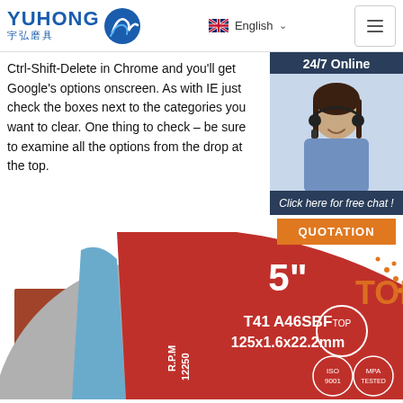YUHONG 宇弘磨具 | English | Menu
Ctrl-Shift-Delete in Chrome and you'll get Google's options onscreen. As with IE just check the boxes next to the categories you want to clear. One thing to check – be sure to examine all the options from the drop at the top.
Get Price
[Figure (photo): Chat widget with 24/7 Online label, photo of a woman with headset, Click here for free chat text, and QUOTATION button]
[Figure (photo): Product image of a 5 inch cutting disc - T41 A46SBF 125x1.6x22.2mm, R.P.M 12250, with TOP and ISO 9001 and MPA TESTED certification logos]